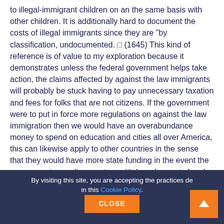to illegal-immigrant children on an the same basis with other children. It is additionally hard to document the costs of illegal immigrants since they are "by classification, undocumented. " (1645) This kind of reference is of value to my exploration because it demonstrates unless the federal government helps take action, the claims affected by against the law immigrants will probably be stuck having to pay unnecessary taxation and fees for folks that are not citizens. If the government were to put in force more regulations on against the law immigration then we would have an overabundance money to spend on education and cities all over America, this can likewise apply to other countries in the sense that they would have more state funding in the event the government spending went on with boarder control and unlawful immigrant expulsion.
Works Mentioned:
Carrozate, Steven. "Immigrants in the... 2007" Middle for...
By visiting this site, you are accepting the practices described in this Cookie Policy. CLOSE